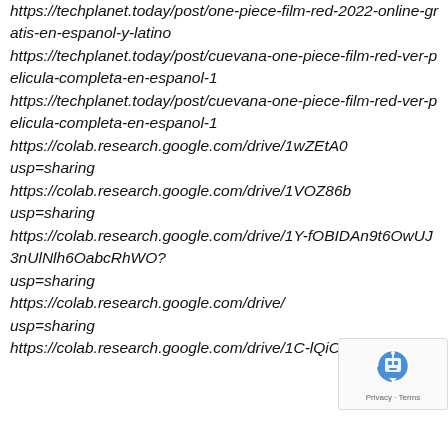https://techplanet.today/post/one-piece-film-red-2022-online-gratis-en-espanol-y-latino https://techplanet.today/post/cuevana-one-piece-film-red-ver-pelicula-completa-en-espanol-1 https://techplanet.today/post/cuevana-one-piece-film-red-ver-pelicula-completa-en-espanol-1 https://colab.research.google.com/drive/1wZEtA0 usp=sharing https://colab.research.google.com/drive/1VOZ86b usp=sharing https://colab.research.google.com/drive/1Y-fOBIDAn9t6OwUJ3nUlNlh6OabcRhWO? usp=sharing https://colab.research.google.com/drive/ usp=sharing https://colab.research.google.com/drive/1C-lQiC
[Figure (other): reCAPTCHA badge with robot icon and Privacy - Terms text]